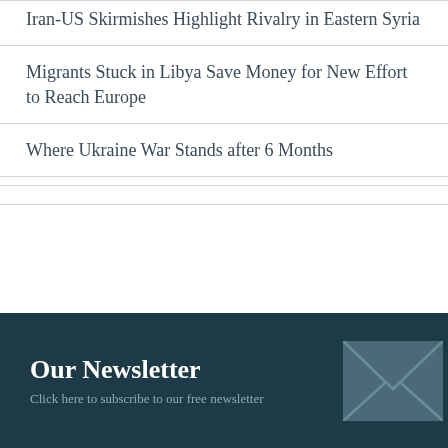Iran-US Skirmishes Highlight Rivalry in Eastern Syria
Migrants Stuck in Libya Save Money for New Effort to Reach Europe
Where Ukraine War Stands after 6 Months
Our Newsletter
Click here to subscribe to our free newsletter